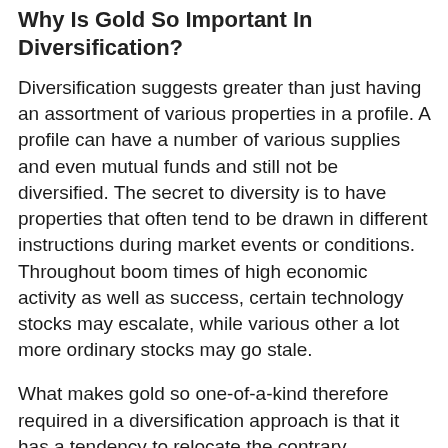Why Is Gold So Important In Diversification?
Diversification suggests greater than just having an assortment of various properties in a profile. A profile can have a number of various supplies and even mutual funds and still not be diversified. The secret to diversity is to have properties that often tend to be drawn in different instructions during market events or conditions. Throughout boom times of high economic activity as well as success, certain technology stocks may escalate, while various other a lot more ordinary stocks may go stale.
What makes gold so one-of-a-kind therefore required in a diversification approach is that it has a tendency to relocate the contrary